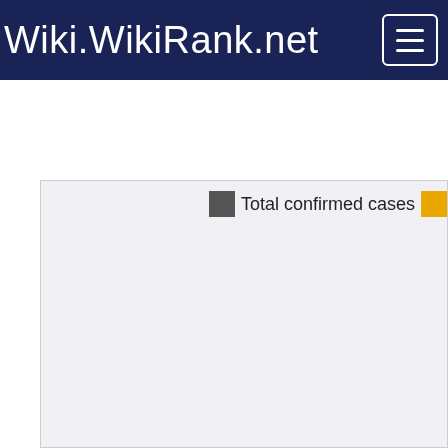Wiki.WikiRank.net
[Figure (other): Partially visible chart area with legend showing 'Total confirmed cases' with a gray color swatch and a yellow/gold color swatch partially cut off at the right edge. The chart area is light gray and mostly empty (chart content is off-screen or not loaded).]